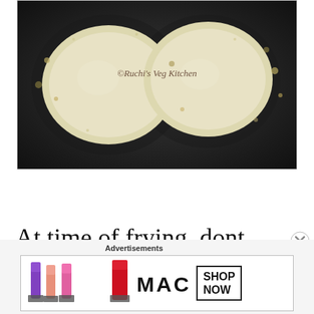[Figure (photo): Food frying in oil in a dark kadai/wok, showing round dough pieces sizzling in hot oil with bubbles. Watermark reads '©Ruchi's Veg Kitchen'.]
At time of frying, dont make crowd in kadai. Fry in small batches.
Advertisements
[Figure (photo): MAC cosmetics advertisement banner showing colorful lipsticks and the MAC logo with a 'SHOP NOW' button.]